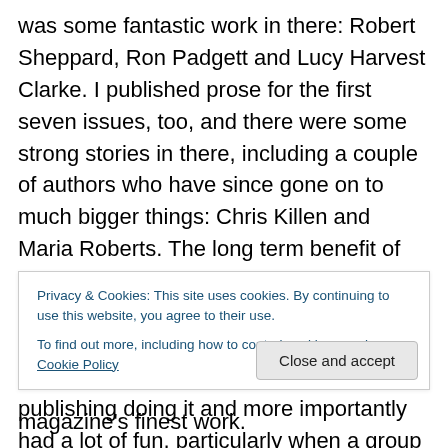was some fantastic work in there: Robert Sheppard, Ron Padgett and Lucy Harvest Clarke. I published prose for the first seven issues, too, and there were some strong stories in there, including a couple of authors who have since gone on to much bigger things: Chris Killen and Maria Roberts. The long term benefit of the magazine to me has been on a philosophical level in that it helped me realise what I was for and against – a sort of purifying fire. Plus, I learnt a lot about publishing doing it and more importantly had a lot of fun, particularly when a group of us used to select work together: me, Sarah, my wife, James Davies...
Privacy & Cookies: This site uses cookies. By continuing to use this website, you agree to their use. To find out more, including how to control cookies, see here: Cookie Policy
Close and accept
magazine's finest work.